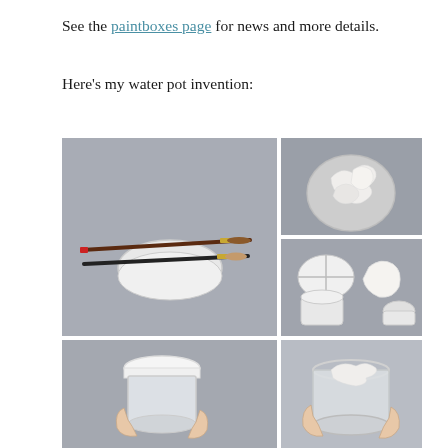See the paintboxes page for news and more details.
Here's my water pot invention:
[Figure (photo): A composite of five photos showing a water pot invention for watercolor painting. Large left photo shows two paint brushes resting on a white translucent circular container lid on a gray background. Top-right photo shows a circular container filled with crumpled white tissue/paper. Bottom-right photo shows the disassembled parts of the container: a round lid with cross dividers, the cylindrical body, and tissue paper stuffed inside. Bottom-left photo shows a hand holding the white-capped cylindrical container. Bottom-right-2 photo shows a hand holding the open translucent container.]